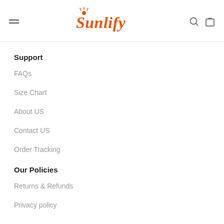Sunlify
Support
FAQs
Size Chart
About US
Contact US
Order Tracking
Our Policies
Returns & Refunds
Privacy policy